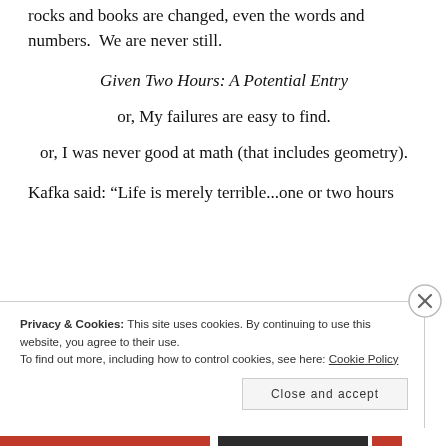rocks and books are changed, even the words and numbers.  We are never still.
Given Two Hours: A Potential Entry
or, My failures are easy to find.
or, I was never good at math (that includes geometry).
Kafka said: “Life is merely terrible...one or two hours
Privacy & Cookies: This site uses cookies. By continuing to use this website, you agree to their use.
To find out more, including how to control cookies, see here: Cookie Policy